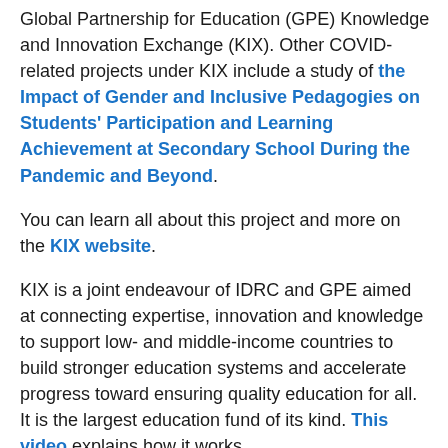Global Partnership for Education (GPE) Knowledge and Innovation Exchange (KIX). Other COVID-related projects under KIX include a study of the Impact of Gender and Inclusive Pedagogies on Students' Participation and Learning Achievement at Secondary School During the Pandemic and Beyond.
You can learn all about this project and more on the KIX website.
KIX is a joint endeavour of IDRC and GPE aimed at connecting expertise, innovation and knowledge to support low- and middle-income countries to build stronger education systems and accelerate progress toward ensuring quality education for all. It is the largest education fund of its kind. This video explains how it works.